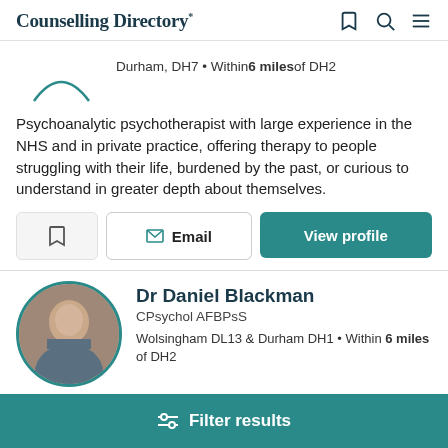Counselling Directory
Durham, DH7 • Within 6 miles of DH2
Psychoanalytic psychotherapist with large experience in the NHS and in private practice, offering therapy to people struggling with their life, burdened by the past, or curious to understand in greater depth about themselves.
Email | View profile
Dr Daniel Blackman
CPsychol AFBPsS
Wolsingham DL13 & Durham DH1 • Within 6 miles of DH2
Filter results